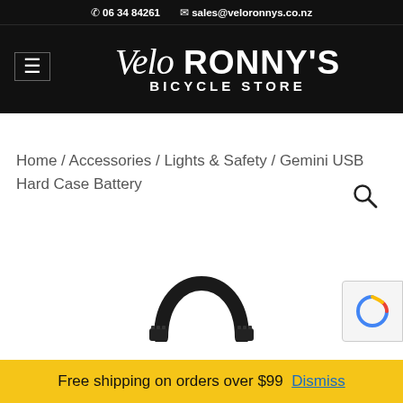06 34 84261   sales@veloronnys.co.nz
[Figure (logo): Velo Ronny's Bicycle Store logo — script italic 'Velo' plus bold 'RONNY'S' and 'BICYCLE STORE' on black background with hamburger menu icon]
Home / Accessories / Lights & Safety / Gemini USB Hard Case Battery
[Figure (other): Search magnifying glass icon]
[Figure (photo): Black USB cable with curved arch shape — Gemini USB Hard Case Battery product image]
[Figure (other): reCAPTCHA badge icon]
Free shipping on orders over $99  Dismiss